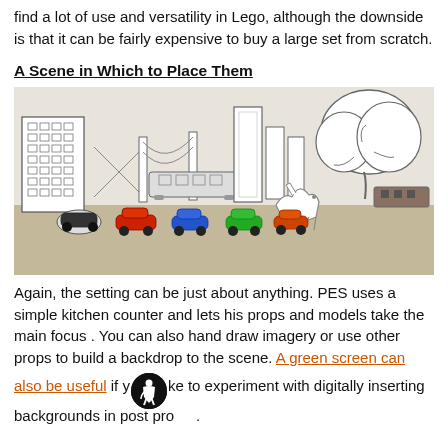find a lot of use and versatility in Lego, although the downside is that it can be fairly expensive to buy a large set from scratch.
A Scene in Which to Place Them
[Figure (photo): A tabletop stop-motion scene with hand-drawn cardboard cutout buildings forming a city skyline, a tree cutout, colorful toy cars (including Lightning McQueen), a fox/dog cutout, and toy trains in the background, all arranged on a beige surface.]
Again, the setting can be just about anything. PES uses a simple kitchen counter and lets his props and models take the main focus . You can also hand draw imagery or use other props to build a backdrop to the scene. A green screen can also be useful if you want to experiment with digitally inserting backgrounds in post production.